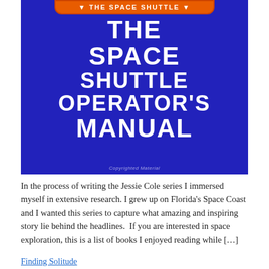[Figure (photo): Book cover of 'The Space Shuttle Operator's Manual' with a dark blue background, large white bold text showing the title, an orange banner at the top reading 'THE SPACE SHUTTLE', and a 'Copyrighted Material' watermark at the bottom.]
In the process of writing the Jessie Cole series I immersed myself in extensive research. I grew up on Florida's Space Coast and I wanted this series to capture what amazing and inspiring story lie behind the headlines.  If you are interested in space exploration, this is a list of books I enjoyed reading while […]
Finding Solitude